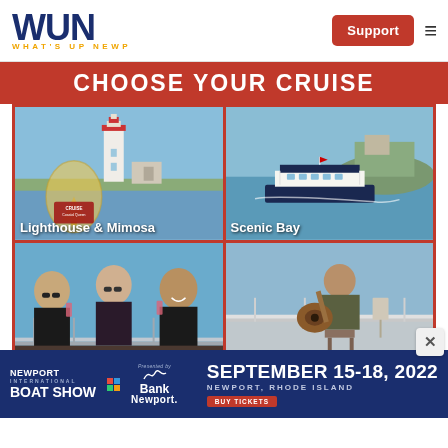[Figure (logo): WUN - What's Up Newp logo with dark blue block letters and gold tagline]
Support
CHOOSE YOUR CRUISE
[Figure (photo): Four-panel cruise advertisement: top-left 'Lighthouse & Mimosa' showing lighthouse and cocktail, top-right 'Scenic Bay' showing a tour boat on water, bottom-left showing three women on a boat deck, bottom-right showing a musician playing guitar on a boat deck]
[Figure (logo): Newport International Boat Show presented by Bank Newport - September 15-18, 2022, Newport, Rhode Island - Buy Tickets banner ad]